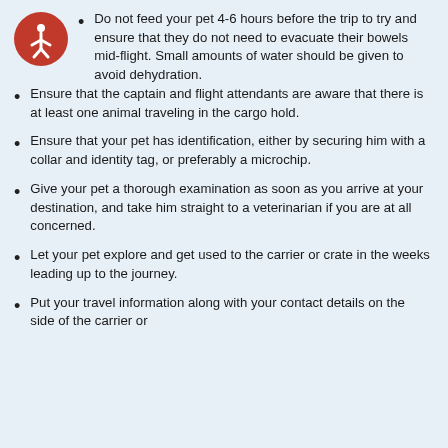Do not feed your pet 4-6 hours before the trip to try and ensure that they do not need to evacuate their bowels mid-flight. Small amounts of water should be given to avoid dehydration.
Ensure that the captain and flight attendants are aware that there is at least one animal traveling in the cargo hold.
Ensure that your pet has identification, either by securing him with a collar and identity tag, or preferably a microchip.
Give your pet a thorough examination as soon as you arrive at your destination, and take him straight to a veterinarian if you are at all concerned.
Let your pet explore and get used to the carrier or crate in the weeks leading up to the journey.
Put your travel information along with your contact details on the side of the carrier or